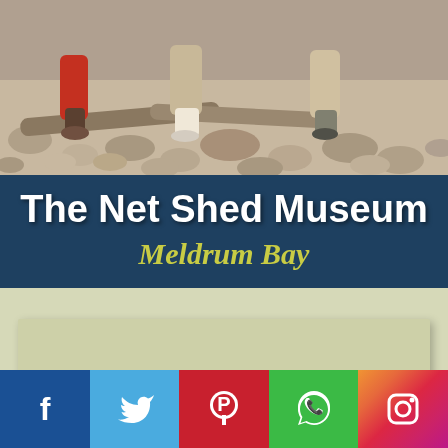[Figure (photo): Photo of people sitting on rocky beach/shore with driftwood logs, showing legs and feet, rocks in background]
The Net Shed Museum
Meldrum Bay
[Figure (other): Empty content/map placeholder box with light olive/khaki background]
[Figure (infographic): Social media icon bar with Facebook, Twitter, Pinterest, WhatsApp, and Instagram icons]